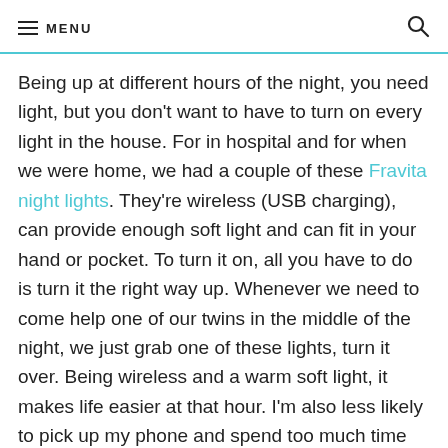MENU
Being up at different hours of the night, you need light, but you don't want to have to turn on every light in the house. For in hospital and for when we were home, we had a couple of these Fravita night lights. They're wireless (USB charging), can provide enough soft light and can fit in your hand or pocket. To turn it on, all you have to do is turn it the right way up. Whenever we need to come help one of our twins in the middle of the night, we just grab one of these lights, turn it over. Being wireless and a warm soft light, it makes life easier at that hour. I'm also less likely to pick up my phone and spend too much time looking at it and interrupting my sleep.